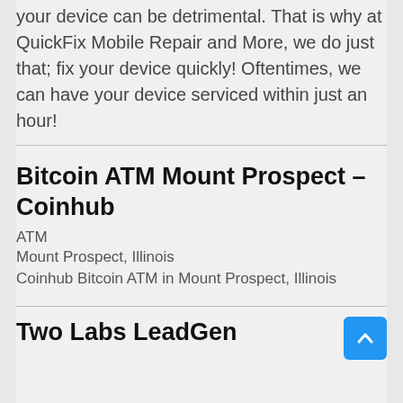your device can be detrimental. That is why at QuickFix Mobile Repair and More, we do just that; fix your device quickly! Oftentimes, we can have your device serviced within just an hour!
Bitcoin ATM Mount Prospect – Coinhub
ATM
Mount Prospect, Illinois
Coinhub Bitcoin ATM in Mount Prospect, Illinois
Two Labs LeadGen